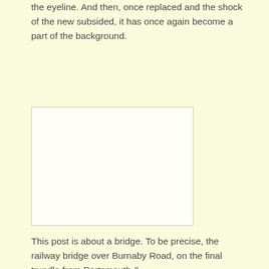the eyeline. And then, once replaced and the shock of the new subsided, it has once again become a part of the background.
[Figure (photo): A blank/white rectangular image placeholder, bordered, occupying the left portion of the page.]
This post is about a bridge. To be precise, the railway bridge over Burnaby Road, on the final trundle from Portsmouth &